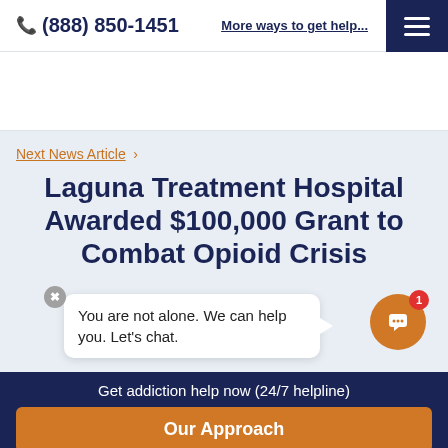(888) 850-1451   More ways to get help...
Next News Article >
Laguna Treatment Hospital Awarded $100,000 Grant to Combat Opioid Crisis
You are not alone. We can help you. Let's chat.
Get addiction help now (24/7 helpline)
Our Approach
We're here for you every step of the way.